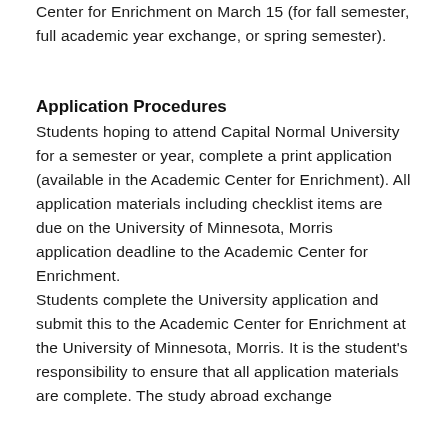Center for Enrichment on March 15 (for fall semester, full academic year exchange, or spring semester).
Application Procedures
Students hoping to attend Capital Normal University for a semester or year, complete a print application (available in the Academic Center for Enrichment). All application materials including checklist items are due on the University of Minnesota, Morris application deadline to the Academic Center for Enrichment.
Students complete the University application and submit this to the Academic Center for Enrichment at the University of Minnesota, Morris. It is the student's responsibility to ensure that all application materials are complete. The study abroad exchange